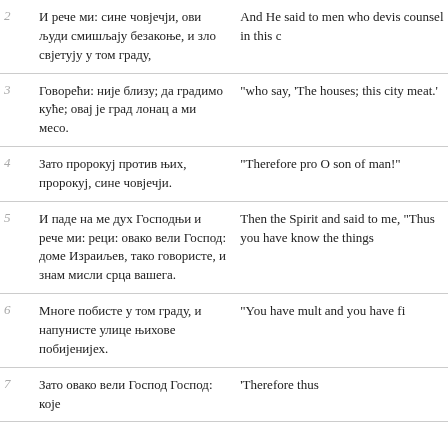| # | Serbian | English |
| --- | --- | --- |
| 2 | И рече ми: сине човјечји, ови људи смишљају безакоње, и зло свјетују у том граду, | And He said to men who devis counsel in this c |
| 3 | Говорећи: није близу; да градимо куће; овај је град лонац а ми месо. | "who say, 'The houses; this city meat.' |
| 4 | Зато пророкуј против њих, пророкуј, сине човјечји. | "Therefore pro O son of man!" |
| 5 | И паде на ме дух Господњи и рече ми: реци: овако вели Господ: доме Израиљев, тако говористе, и знам мисли срца вашега. | Then the Spirit and said to me, "Thus you have know the things |
| 6 | Многе побисте у том граду, и напунисте улице њихове побијенијех. | "You have mult and you have fi |
| 7 | Зато овако вели Господ Господ: које | 'Therefore thus |